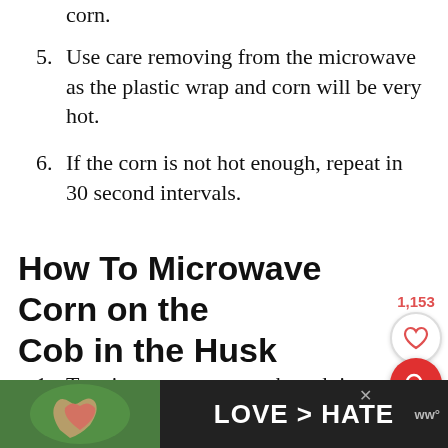corn.
5. Use care removing from the microwave as the plastic wrap and corn will be very hot.
6. If the corn is not hot enough, repeat in 30 second intervals.
How To Microwave Corn on the Cob in the Husk
1. To microwave corn on the cob in the husk,
2. Microwave the ears of corn for 2 minutes per ear of corn,
3. Remove from the microwave.
4.
[Figure (infographic): Ad banner at bottom: image of hands making heart shape, text LOVE > HATE, close button X, logo WW]